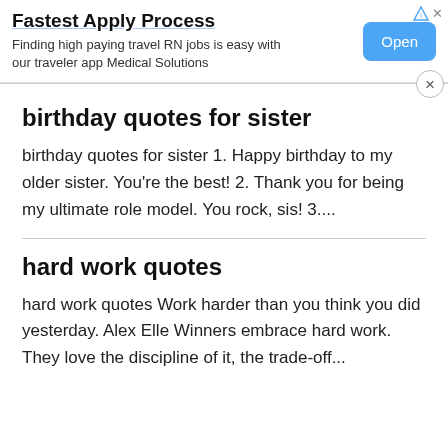[Figure (screenshot): Advertisement banner: 'Fastest Apply Process' with Open button. Finding high paying travel RN jobs is easy with our traveler app Medical Solutions.]
birthday quotes for sister
birthday quotes for sister 1. Happy birthday to my older sister. You’re the best! 2. Thank you for being my ultimate role model. You rock, sis! 3....
hard work quotes
hard work quotes Work harder than you think you did yesterday. Alex Elle Winners embrace hard work. They love the discipline of it, the trade-off...